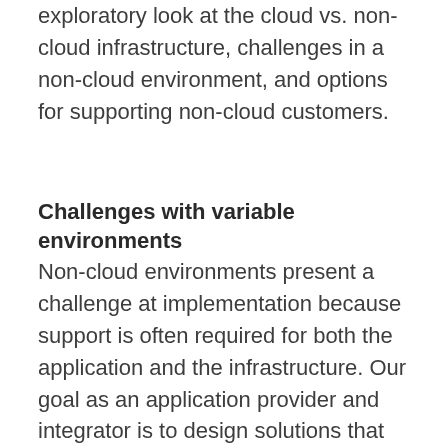exploratory look at the cloud vs. non-cloud infrastructure, challenges in a non-cloud environment, and options for supporting non-cloud customers.
Challenges with variable environments
Non-cloud environments present a challenge at implementation because support is often required for both the application and the infrastructure. Our goal as an application provider and integrator is to design solutions that deploy in any environment, so we searched for a solution that provided cloud environment advantages like the ability to scale and provide fault tolerance. We have